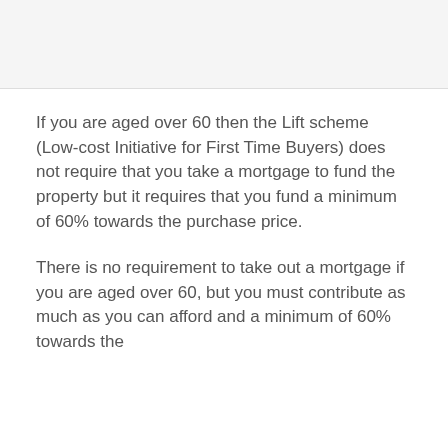[Figure (other): Light grey placeholder image area at the top of the page]
If you are aged over 60 then the Lift scheme (Low-cost Initiative for First Time Buyers) does not require that you take a mortgage to fund the property but it requires that you fund a minimum of 60% towards the purchase price.
There is no requirement to take out a mortgage if you are aged over 60, but you must contribute as much as you can afford and a minimum of 60% towards the purchase price.